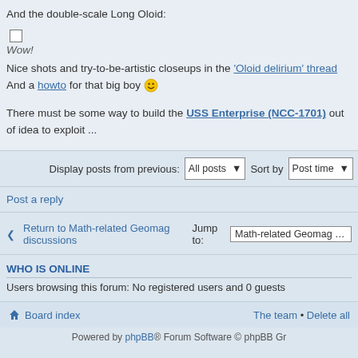And the double-scale Long Oloid:
[Figure (other): Small square image placeholder (checkbox-like square icon)]
Wow!
Nice shots and try-to-be-artistic closeups in the 'Oloid delirium' thread
And a howto for that big boy 🙂
There must be some way to build the USS Enterprise (NCC-1701) out of idea to exploit ...
Display posts from previous: All posts  Sort by Post time
Post a reply
Return to Math-related Geomag discussions   Jump to: Math-related Geomag disc
WHO IS ONLINE
Users browsing this forum: No registered users and 0 guests
Board index   The team • Delete all
Powered by phpBB® Forum Software © phpBB Gr